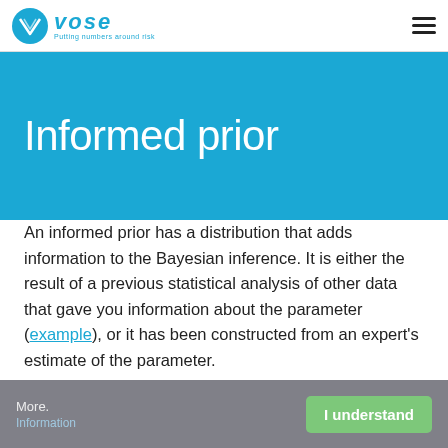Vose — Putting numbers around risk
Informed prior
An informed prior has a distribution that adds information to the Bayesian inference. It is either the result of a previous statistical analysis of other data that gave you information about the parameter (example), or it has been constructed from an expert's estimate of the parameter.